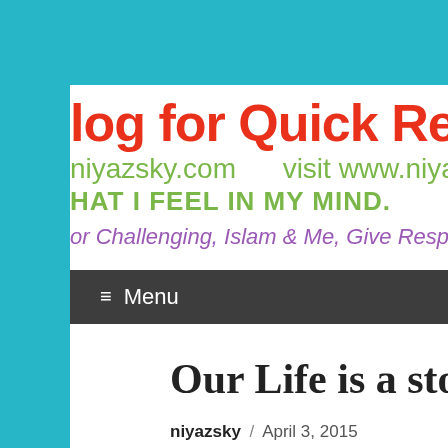log for Quick Read
niyazsky.com    visit www.niyaz
hat I feel in my Mind.
or Challenging, Islam & Me, Give Respe
≡ Menu
Our Life is a story Each day
niyazsky / April 3, 2015
[Figure (photo): A photograph partially visible at the bottom of the page]